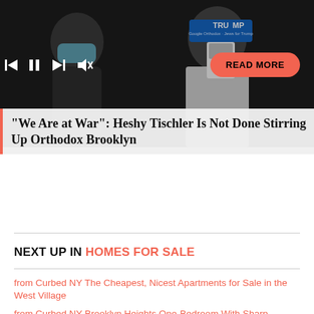[Figure (photo): A person wearing a blue surgical mask and a TRUMP badge/lanyard in a dark setting. Media player controls (skip back, pause, skip forward, mute) are overlaid at left. An orange 'READ MORE' button is at the right.]
"We Are at War": Heshy Tischler Is Not Done Stirring Up Orthodox Brooklyn
NEXT UP IN HOMES FOR SALE
from Curbed NY The Cheapest, Nicest Apartments for Sale in the West Village
from Curbed NY Brooklyn Heights One-Bedroom With Sharp Kitchen Reno, Micro Claw-foot Tub, for $675K
from Curbed Frank Lloyd Wright's Final Design, Auctioned Last Year for $1.7M, Now Asks $8M. Huh?
from Curbed NY Brooklyn Museum–Adjacent Apartment With Two Large Bedrooms Asks $875K